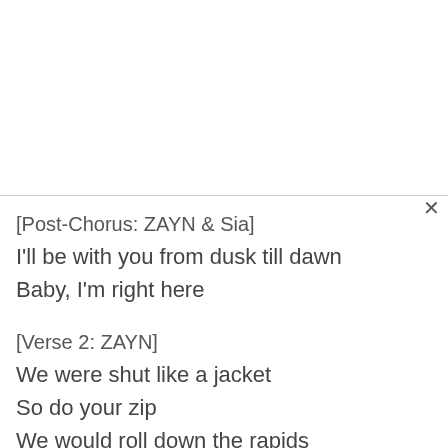[Post-Chorus: ZAYN & Sia]
I'll be with you from dusk till dawn
Baby, I'm right here
[Verse 2: ZAYN]
We were shut like a jacket
So do your zip
We would roll down the rapids
To find a wave that fits
Can you feel where the wind is?